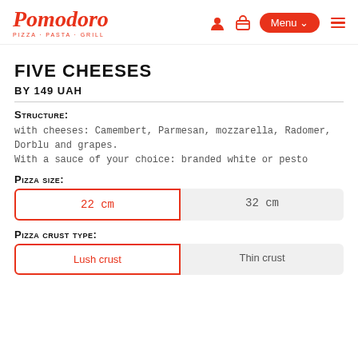Pomodoro — PIZZA · PASTA · GRILL
FIVE CHEESES
BY 149 UAH
Structure:
with cheeses: Camembert, Parmesan, mozzarella, Radomer, Dorblu and grapes.
With a sauce of your choice: branded white or pesto
Pizza size:
22 cm | 32 cm
Pizza crust type:
Lush crust | Thin crust